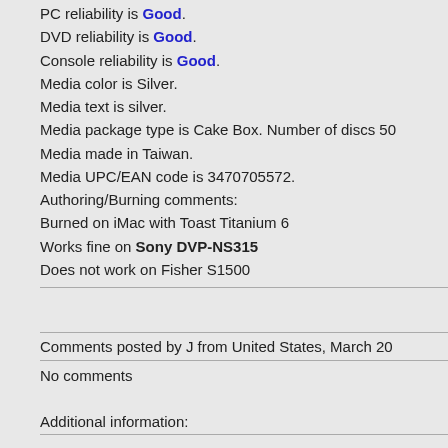PC reliability is Good. DVD reliability is Good. Console reliability is Good. Media color is Silver. Media text is silver. Media package type is Cake Box. Number of discs 50. Media made in Taiwan. Media UPC/EAN code is 3470705572. Authoring/Burning comments: Burned on iMac with Toast Titanium 6. Works fine on Sony DVP-NS315. Does not work on Fisher S1500.
Comments posted by J from United States, March 20
No comments
Additional information: